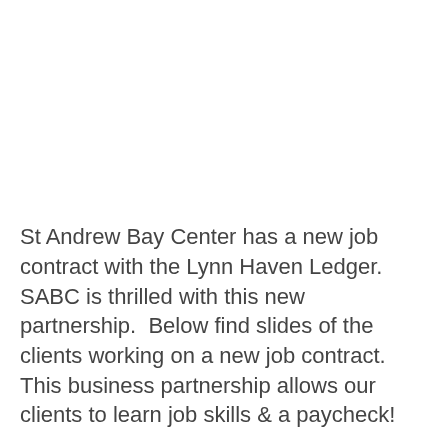St Andrew Bay Center has a new job contract with the Lynn Haven Ledger. SABC is thrilled with this new partnership.  Below find slides of the clients working on a new job contract. This business partnership allows our clients to learn job skills & a paycheck!